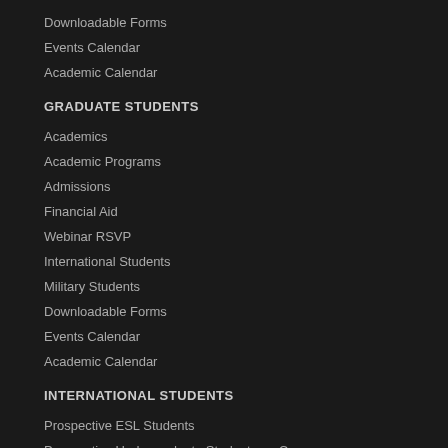Downloadable Forms
Events Calendar
Academic Calendar
GRADUATE STUDENTS
Academics
Academic Programs
Admissions
Financial Aid
Webinar RSVP
International Students
Military Students
Downloadable Forms
Events Calendar
Academic Calendar
INTERNATIONAL STUDENTS
Prospective ESL Students
Prospective Undergraduate Students on Campus
Prospective Graduate Students
International Student Programs